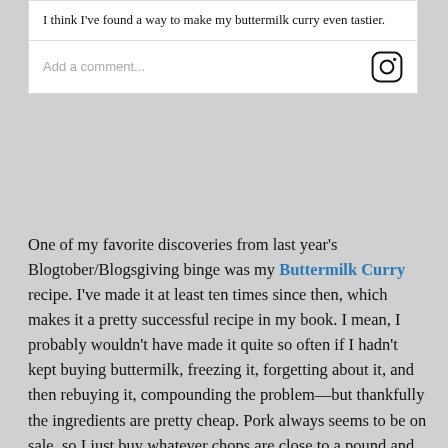I think I've found a way to make my buttermilk curry even tastier.
Add a comment...
One of my favorite discoveries from last year's Blogtober/Blogsgiving binge was my Buttermilk Curry recipe. I've made it at least ten times since then, which makes it a pretty successful recipe in my book. I mean, I probably wouldn't have made it quite so often if I hadn't kept buying buttermilk, freezing it, forgetting about it, and then rebuying it, compounding the problem—but thankfully the ingredients are pretty cheap. Pork always seems to be on sale, so I just buy whatever chops are close to a pound and cut it into small pieces myself. I've also been upping the vegetable content with extra peppers (usually an Anaheim or Pasilla, but tonight's used the smaller purple peppers from my garden).